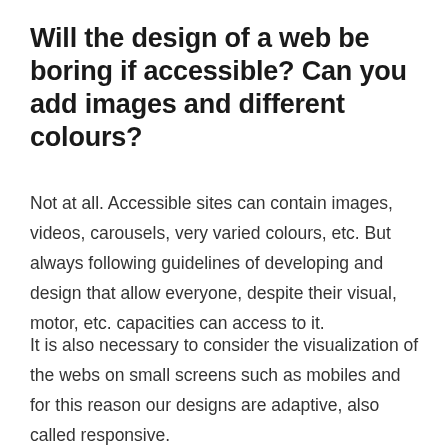Will the design of a web be boring if accessible? Can you add images and different colours?
Not at all. Accessible sites can contain images, videos, carousels, very varied colours, etc. But always following guidelines of developing and design that allow everyone, despite their visual, motor, etc. capacities can access to it.
It is also necessary to consider the visualization of the webs on small screens such as mobiles and for this reason our designs are adaptive, also called responsive.